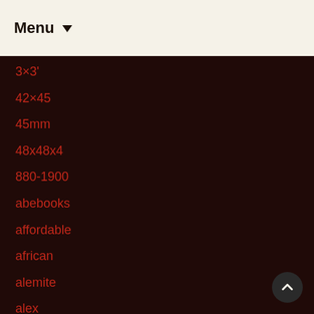Menu ▼
3×3'
42×45
45mm
48x48x4
880-1900
abebooks
affordable
african
alemite
alex
allen
amazaing
amazing